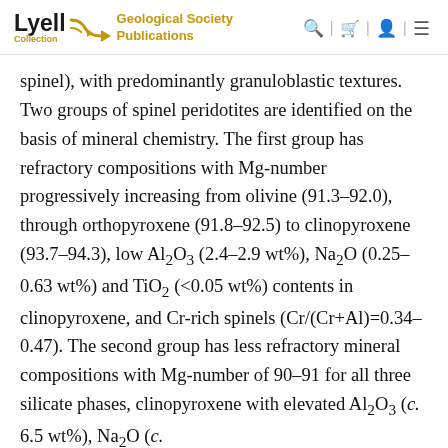Lyell Collection | Geological Society Publications
spinel), with predominantly granuloblastic textures. Two groups of spinel peridotites are identified on the basis of mineral chemistry. The first group has refractory compositions with Mg-number progressively increasing from olivine (91.3–92.0), through orthopyroxene (91.8–92.5) to clinopyroxene (93.7–94.3), low Al2O3 (2.4–2.9 wt%), Na2O (0.25–0.63 wt%) and TiO2 (<0.05 wt%) contents in clinopyroxene, and Cr-rich spinels (Cr/(Cr+Al)=0.34–0.47). The second group has less refractory mineral compositions with Mg-number of 90–91 for all three silicate phases, clinopyroxene with elevated Al2O3 (c. 6.5 wt%), Na2O (c.